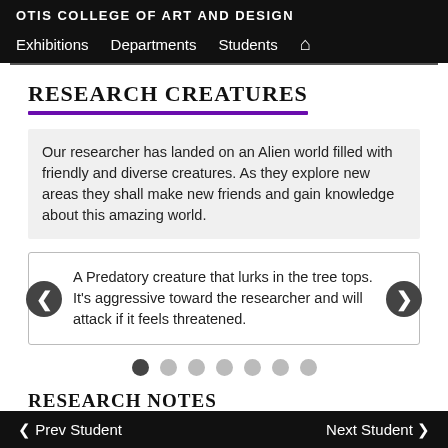OTIS COLLEGE OF ART AND DESIGN
Exhibitions  Departments  Students  🏠
RESEARCH CREATURES
Our researcher has landed on an Alien world filled with friendly and diverse creatures. As they explore new areas they shall make new friends and gain knowledge about this amazing world.
A Predatory creature that lurks in the tree tops. It's aggressive toward the researcher and will attack if it feels threatened.
RESEARCH NOTES
< Prev Student    Next Student >